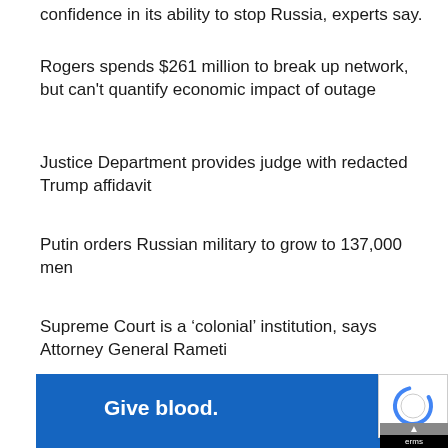confidence in its ability to stop Russia, experts say.
Rogers spends $261 million to break up network, but can't quantify economic impact of outage
Justice Department provides judge with redacted Trump affidavit
Putin orders Russian military to grow to 137,000 men
Supreme Court is a ‘colonial’ institution, says Attorney General Rameti
[Figure (screenshot): Blue banner advertisement with white bold text reading 'Give blood.' with a CAPTCHA widget overlaid in the bottom right corner and a black 'terms' bar and up-arrow button.]